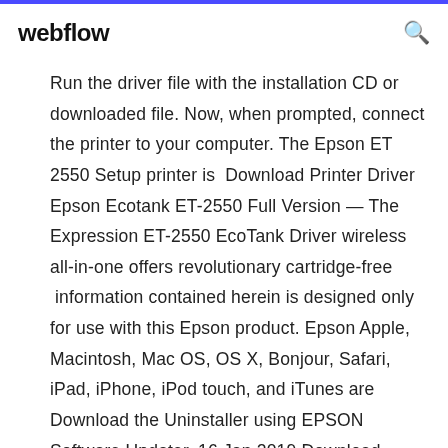webflow
Run the driver file with the installation CD or downloaded file. Now, when prompted, connect the printer to your computer. The Epson ET 2550 Setup printer is  Download Printer Driver Epson Ecotank ET-2550 Full Version — The Expression ET-2550 EcoTank Driver wireless all-in-one offers revolutionary cartridge-free  information contained herein is designed only for use with this Epson product. Epson Apple, Macintosh, Mac OS, OS X, Bonjour, Safari, iPad, iPhone, iPod touch, and iTunes are Download the Uninstaller using EPSON Software Updater. 16 Jan 2019 Download Epson Expression ET-2550 Printer